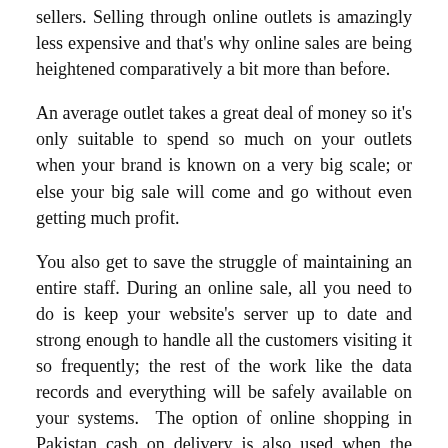sellers. Selling through online outlets is amazingly less expensive and that's why online sales are being heightened comparatively a bit more than before.
An average outlet takes a great deal of money so it's only suitable to spend so much on your outlets when your brand is known on a very big scale; or else your big sale will come and go without even getting much profit.
You also get to save the struggle of maintaining an entire staff. During an online sale, all you need to do is keep your website's server up to date and strong enough to handle all the customers visiting it so frequently; the rest of the work like the data records and everything will be safely available on your systems.  The option of online shopping in Pakistan cash on delivery is also used when the customers require it. But the fact remains that online sales are now flourishing.
...